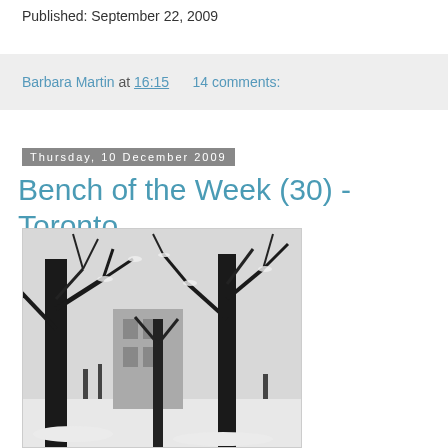Published: September 22, 2009
Barbara Martin at 16:15   14 comments:
Thursday, 10 December 2009
Bench of the Week (30) - Toronto
[Figure (photo): Black and white photograph of snow-covered trees in a park with a building visible in the background, Toronto]